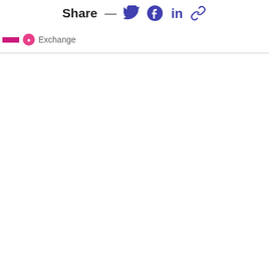Share — Twitter Facebook LinkedIn Link
Exchange